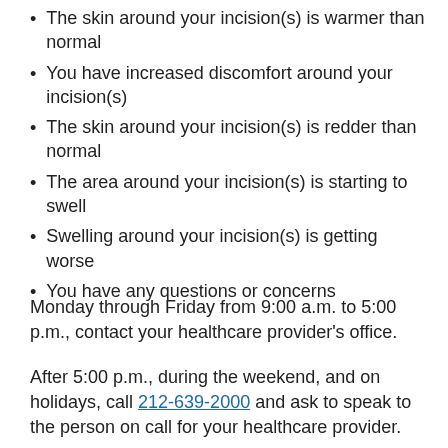The skin around your incision(s) is warmer than normal
You have increased discomfort around your incision(s)
The skin around your incision(s) is redder than normal
The area around your incision(s) is starting to swell
Swelling around your incision(s) is getting worse
You have any questions or concerns
Monday through Friday from 9:00 a.m. to 5:00 p.m., contact your healthcare provider’s office.
After 5:00 p.m., during the weekend, and on holidays, call 212-639-2000 and ask to speak to the person on call for your healthcare provider.